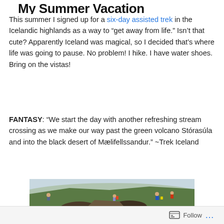My Summer Vacation
This summer I signed up for a six-day assisted trek in the Icelandic highlands as a way to “get away from life.” Isn’t that cute? Apparently Iceland was magical, so I decided that’s where life was going to pause. No problem! I hike. I have water shoes. Bring on the vistas!
FANTASY: “We start the day with another refreshing stream crossing as we make our way past the green volcano Stórasúla and into the black desert of Mælifellssandur.” ~Trek Iceland
[Figure (photo): Group of hikers on a green and rocky hillside in Iceland, with one hiker smiling at the camera in the foreground and others hiking in the background]
Follow